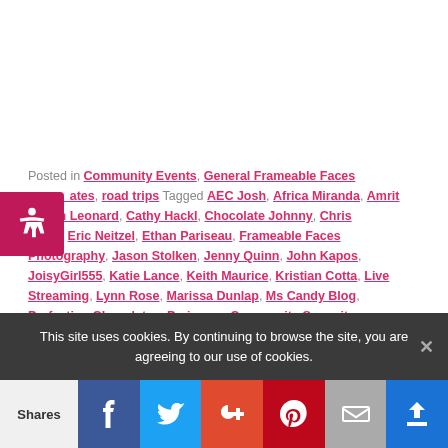Posted in Community Events, General Frameable Faces [Updates], road trips Tagged AEC Josh, Africa Miranda, Amrit [Singh], Ben Leonard, Cathy Hackl, Chocolate Johnny, Chris Strub, Eric Neitzel, Ethan Pariseau, Frameable Faces Photography, Jason Stolken, Jenny Quinn, John Kapos, JoisyGirl555, Katie Lance, Keith Maurice, Kristian Cotta, Live Streaming, Lynn Rose, Marissa Dunlap, Ms Candy Blog, Perfection Chocolates, Periscope Community Summit, PlayForStuff.com, Ryan A Bell, Ryan Steinolfson, San Francisco, Sandy Choi, Summit Live, Terry L White, Tigerwon,
This site uses cookies. By continuing to browse the site, you are agreeing to our use of cookies.
Shares